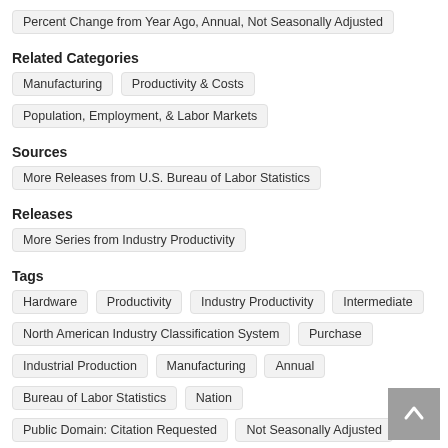Percent Change from Year Ago, Annual, Not Seasonally Adjusted
Related Categories
Manufacturing
Productivity & Costs
Population, Employment, & Labor Markets
Sources
More Releases from U.S. Bureau of Labor Statistics
Releases
More Series from Industry Productivity
Tags
Hardware
Productivity
Industry Productivity
Intermediate
North American Industry Classification System
Purchase
Industrial Production
Manufacturing
Annual
Bureau of Labor Statistics
Nation
Public Domain: Citation Requested
Not Seasonally Adjusted
United States of America